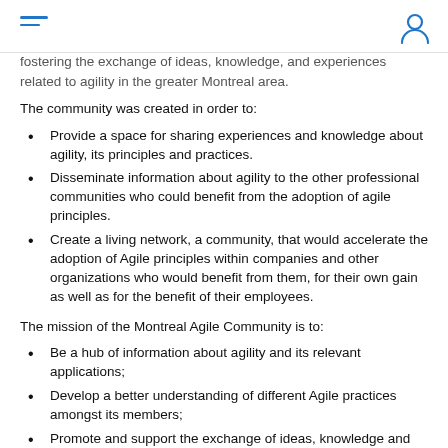[hamburger menu icon] [person/account icon]
fostering the exchange of ideas, knowledge, and experiences related to agility in the greater Montreal area.
The community was created in order to:
Provide a space for sharing experiences and knowledge about agility, its principles and practices.
Disseminate information about agility to the other professional communities who could benefit from the adoption of agile principles.
Create a living network, a community, that would accelerate the adoption of Agile principles within companies and other organizations who would benefit from them, for their own gain as well as for the benefit of their employees.
The mission of the Montreal Agile Community is to:
Be a hub of information about agility and its relevant applications;
Develop a better understanding of different Agile practices amongst its members;
Promote and support the exchange of ideas, knowledge and experiences among members;
Monitor and discuss the evolution of Agile best practices;
Encourage the participation of members and experts in the field as speakers;
Support local events that share the community's principles, values and